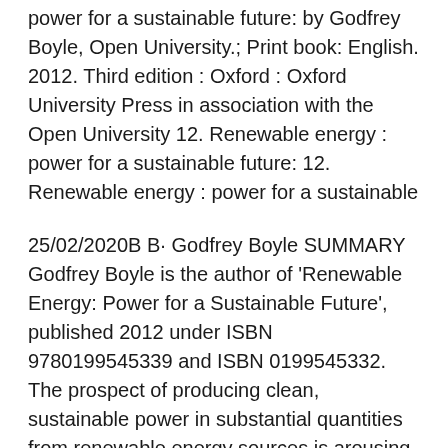power for a sustainable future: by Godfrey Boyle, Open University.; Print book: English. 2012. Third edition : Oxford : Oxford University Press in association with the Open University 12. Renewable energy : power for a sustainable future: 12. Renewable energy : power for a sustainable
25/02/2020B B· Godfrey Boyle SUMMARY Godfrey Boyle is the author of 'Renewable Energy: Power for a Sustainable Future', published 2012 under ISBN 9780199545339 and ISBN 0199545332. The prospect of producing clean, sustainable power in substantial quantities from renewable energy sources is arousing interest world-wide. This book provides a comprehensive overview of the principal